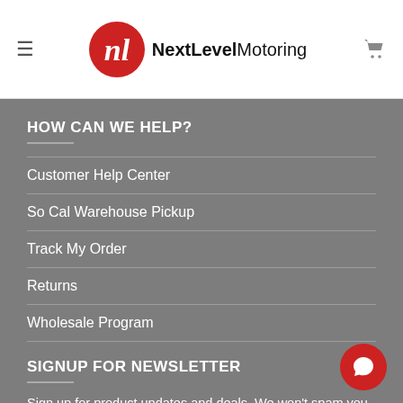NextLevelMotoring
HOW CAN WE HELP?
Customer Help Center
So Cal Warehouse Pickup
Track My Order
Returns
Wholesale Program
SIGNUP FOR NEWSLETTER
Sign up for product updates and deals. We won't spam you.